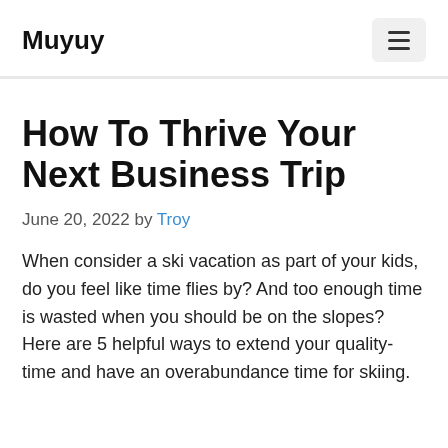Muyuy
How To Thrive Your Next Business Trip
June 20, 2022 by Troy
When consider a ski vacation as part of your kids, do you feel like time flies by? And too enough time is wasted when you should be on the slopes? Here are 5 helpful ways to extend your quality-time and have an overabundance time for skiing.